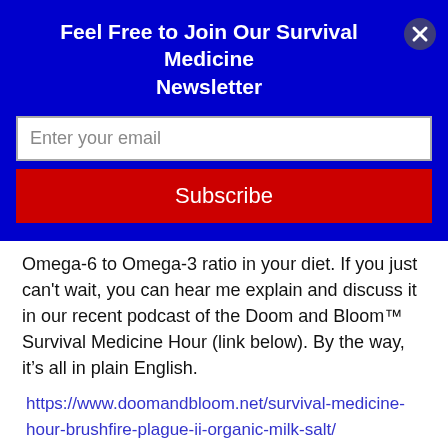Feel Free to Join Our Survival Medicine Newsletter
[Figure (other): Email input field with placeholder text 'Enter your email']
[Figure (other): Red Subscribe button]
Omega-6 to Omega-3 ratio in your diet. If you just can't wait, you can hear me explain and discuss it in our recent podcast of the Doom and Bloom™ Survival Medicine Hour (link below).  By the way, it's all in plain English.
https://www.doomandbloom.net/survival-medicine-hour-brushfire-plague-ii-organic-milk-salt/
Organic Certification